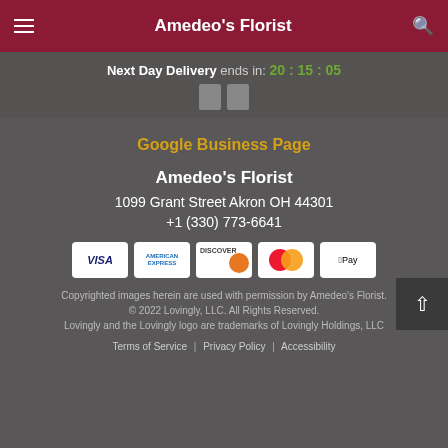Amedeo's Florist
Next Day Delivery ends in: 20:15:05
Google Business Page
Amedeo's Florist
1099 Grant Street Akron OH 44301
+1 (330) 773-6641
[Figure (other): Payment method icons: Visa, American Express, Discover, Mastercard, Apple Pay]
Copyrighted images herein are used with permission by Amedeo's Florist.
© 2022 Lovingly, LLC. All Rights Reserved.
Lovingly and the Lovingly logo are trademarks of Lovingly Holdings, LLC
Terms of Service | Privacy Policy | Accessibility